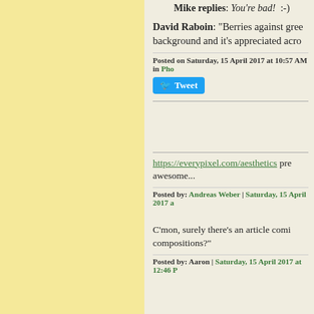Mike replies: You're bad!  :-)
David Raboin: "Berries against gree background and it's appreciated acro
Posted on Saturday, 15 April 2017 at 10:57 AM in Pho
[Figure (other): Tweet button]
https://everypixel.com/aesthetics pre awesome...
Posted by: Andreas Weber | Saturday, 15 April 2017 a
C'mon, surely there's an article comi compositions?"
Posted by: Aaron | Saturday, 15 April 2017 at 12:46 P